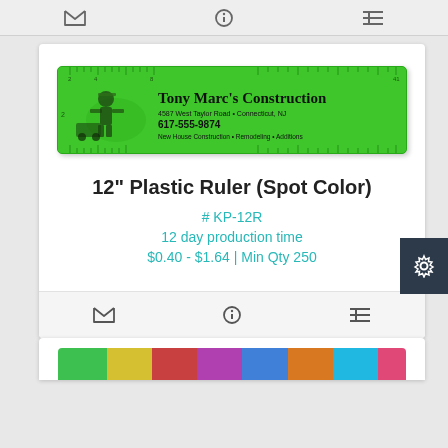[Figure (screenshot): Top navigation bar with email, info, and list icons on grey background]
[Figure (photo): Green plastic ruler with Tony Marc's Construction branding: address 4587 West Taylor Road, Connecticut, NJ, phone 617-555-9874, tagline New House Construction • Remodeling • Additions]
12" Plastic Ruler (Spot Color)
# KP-12R
12 day production time
$0.40 - $1.64 | Min Qty 250
[Figure (screenshot): Bottom card footer with email, info, and list icons]
[Figure (screenshot): Settings gear button on dark navy background]
[Figure (photo): Partial view of colorful multicolor card at bottom of page]